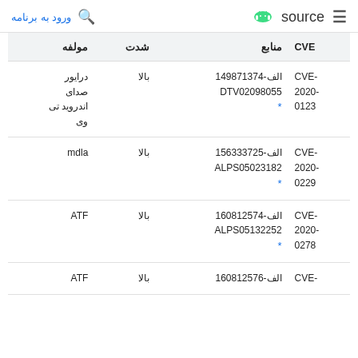ورود به برنامه  🔍   🤖 source  ≡
| CVE | منابع | شدت | مولفه |
| --- | --- | --- | --- |
| CVE-2020-0123 | الف-149871374
DTV02098055
* | بالا | درایور صدای اندروید تی وی |
| CVE-2020-0229 | الف-156333725
ALPS05023182
* | بالا | mdla |
| CVE-2020-0278 | الف-160812574
ALPS05132252
* | بالا | ATF |
| CVE- | الف-160812576 | بالا | ATF |